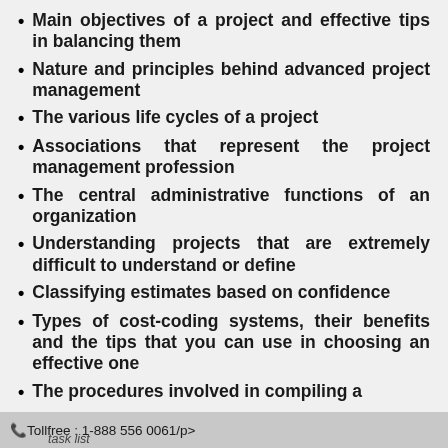Main objectives of a project and effective tips in balancing them
Nature and principles behind advanced project management
The various life cycles of a project
Associations that represent the project management profession
The central administrative functions of an organization
Understanding projects that are extremely difficult to understand or define
Classifying estimates based on confidence
Types of cost-coding systems, their benefits and the tips that you can use in choosing an effective one
The procedures involved in compiling a task list
Tollfree : 1-888 556 0061/p>